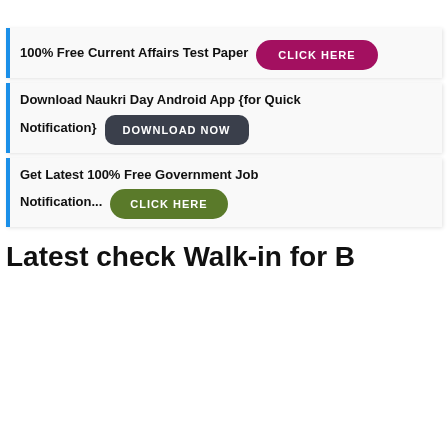100% Free Current Affairs Test Paper CLICK HERE
Download Naukri Day Android App {for Quick Notification} DOWNLOAD NOW
Get Latest 100% Free Government Job Notification... CLICK HERE
Latest check Walk-in for B